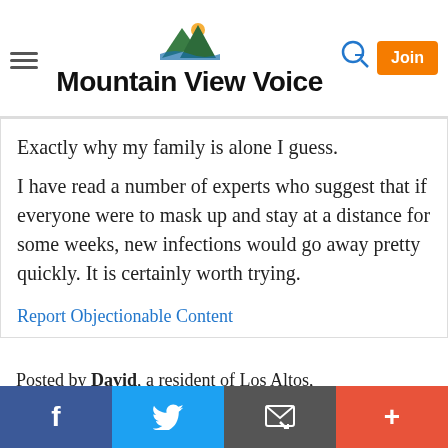Mountain View Voice
Exactly why my family is alone I guess.

I have read a number of experts who suggest that if everyone were to mask up and stay at a distance for some weeks, new infections would go away pretty quickly. It is certainly worth trying.
Report Objectionable Content
Posted by David, a resident of Los Altos, on Jul 22, 2020 at 6:57 pm
The county always said you shouldn't socialize with other families and that unrelated should not eat together. This is
f  (twitter bird)  (email)  +